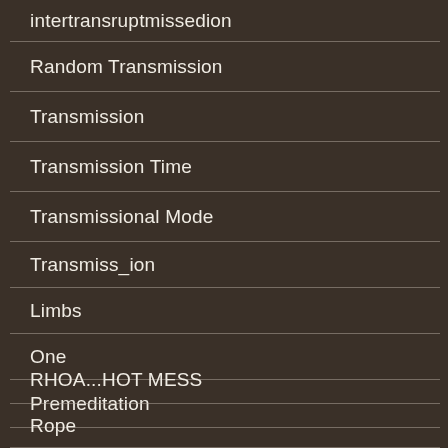intertransruptmissedion
Random Transmission
Transmission
Transmission Time
Transmissional Mode
Transmiss_ion
Limbs
One
Premeditation
RHOA...HOT MESS
Rope